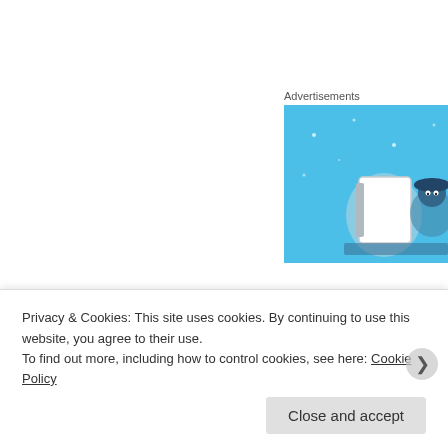Advertisements
[Figure (illustration): Blue advertisement banner with illustrated characters including a notebook and a person wearing a hat, on a light blue background with stars]
Almost two whole chickens have been gnawed to the b... change venues. Scholar introduces a coffee and wine ... still hot. Northside Social is my type of coffee house. C... of all, great coffee (they brew Counter Culture).
[Figure (photo): Photo showing a close-up of hands and a person's hair, warm tones]
Privacy & Cookies: This site uses cookies. By continuing to use this website, you agree to their use.
To find out more, including how to control cookies, see here: Cookie Policy
Close and accept